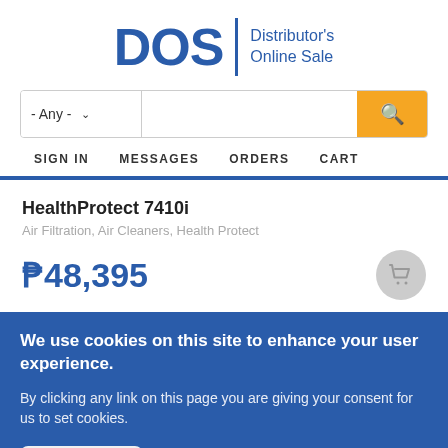[Figure (logo): DOS Distributor's Online Sale logo with large blue DOS letters and blue divider]
- Any -  ∨  [search box]  🔍
SIGN IN   MESSAGES   ORDERS   CART
HealthProtect 7410i
Air Filtration, Air Cleaners, Health Protect
₱48,395
We use cookies on this site to enhance your user experience.
By clicking any link on this page you are giving your consent for us to set cookies.
OK, I agree